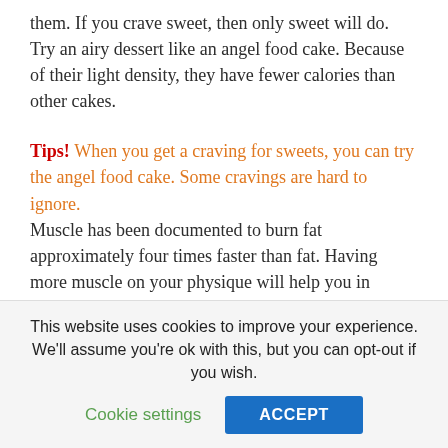them. If you crave sweet, then only sweet will do. Try an airy dessert like an angel food cake. Because of their light density, they have fewer calories than other cakes.
Tips! When you get a craving for sweets, you can try the angel food cake. Some cravings are hard to ignore. Muscle has been documented to burn fat approximately four times faster than fat. Having more muscle on your physique will help you in losing extra pounds without doing much exercise. Strength training is the only way to effectively build your muscles.
This website uses cookies to improve your experience. We'll assume you're ok with this, but you can opt-out if you wish. Cookie settings ACCEPT